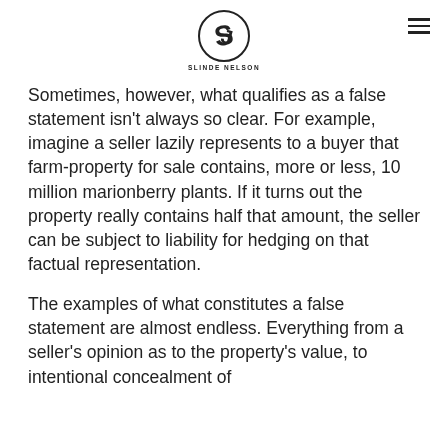SLINDE NELSON
Sometimes, however, what qualifies as a false statement isn't always so clear. For example, imagine a seller lazily represents to a buyer that farm-property for sale contains, more or less, 10 million marionberry plants. If it turns out the property really contains half that amount, the seller can be subject to liability for hedging on that factual representation.
The examples of what constitutes a false statement are almost endless. Everything from a seller's opinion as to the property's value, to intentional concealment of